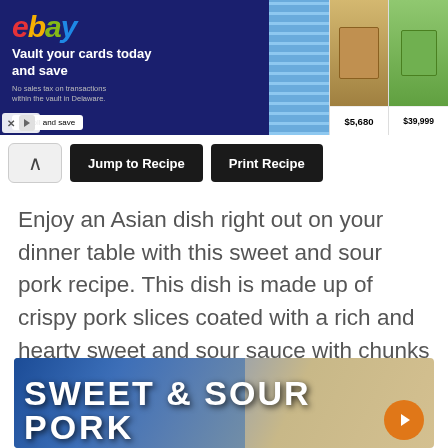[Figure (screenshot): eBay advertisement banner with text 'Vault your cards today and save' and card prices $5,680 and $39,999]
[Figure (screenshot): Navigation buttons: back arrow, Jump to Recipe, Print Recipe]
Enjoy an Asian dish right out on your dinner table with this sweet and sour pork recipe. This dish is made up of crispy pork slices coated with a rich and hearty sweet and sour sauce with chunks of onions, bell peppers and pineapple. This Chinese sweet and sour pork dish is best enjoyed with a bowl of yang chow fried rice.
[Figure (photo): Sweet & Sour Pork food image with title overlay and orange play button]